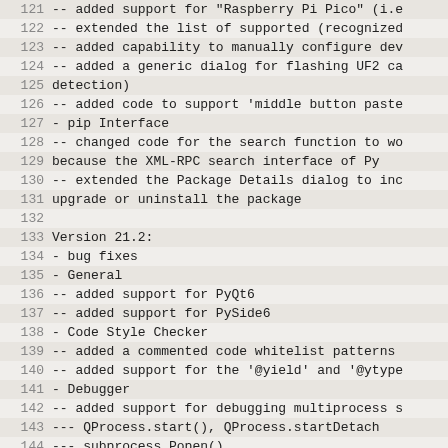121  -- added support for "Raspberry Pi Pico" (i.e
122  -- extended the list of supported (recognized
123  -- added capability to manually configure dev
124  -- added a generic dialog for flashing UF2 ca
125      detection)
126  -- added code to support 'middle button paste
127 - pip Interface
128  -- changed code for the search function to wo
129      because the XML-RPC search interface of Py
130  -- extended the Package Details dialog to inc
131      upgrade or uninstall the package
132
133 Version 21.2:
134 - bug fixes
135 - General
136  -- added support for PyQt6
137  -- added support for PySide6
138 - Code Style Checker
139  -- added a commented code whitelist patterns
140  -- added support for the '@yield' and '@ytype
141 - Debugger
142  -- added support for debugging multiprocess s
143      --- QProcess.start(), QProcess.startDetach
144      --- subprocess.Popen()
145      --- multiprocessing.Process()
146      --- os.spawnl...(), os.spawnv...(), os.pos